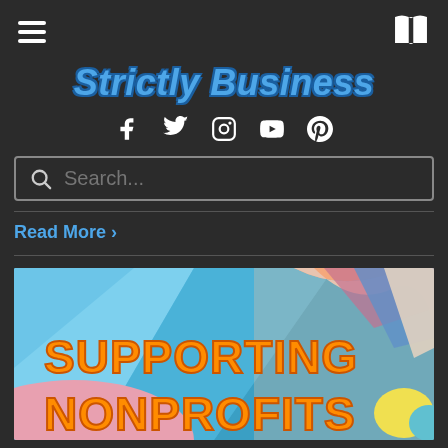Strictly Business
f  Twitter  Instagram  YouTube  Pinterest
Search...
Read More ›
[Figure (illustration): Colorful illustrated image showing hands with text 'SUPPORTING NONPROFITS' in large orange bold letters on a blue geometric background]